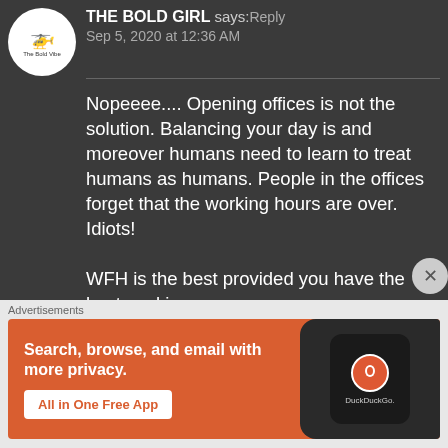[Figure (illustration): Circular avatar with white background showing a small helicopter/bird logo and text 'The Bold Vibe']
THE BOLD GIRL says: Reply
Sep 5, 2020 at 12:36 AM
Nopeeee.... Opening offices is not the solution. Balancing your day is and moreover humans need to learn to treat humans as humans. People in the offices forget that the working hours are over. Idiots!

WFH is the best provided you have the best working
Advertisements
[Figure (screenshot): DuckDuckGo advertisement banner with orange background. Left side shows bold white text 'Search, browse, and email with more privacy.' with a white button 'All in One Free App'. Right side shows a smartphone with DuckDuckGo logo and brand name.]